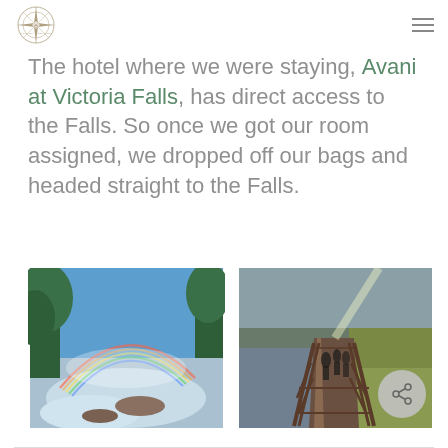Travel blog header with logo and navigation
The hotel where we were staying, Avani at Victoria Falls, has direct access to the Falls. So once we got our room assigned, we dropped off our bags and headed straight to the Falls.
[Figure (photo): View of Victoria Falls with a rainbow visible through tree branches, mist and rushing water below, blue sky]
[Figure (photo): Wooden walkway/boardwalk path leading toward Victoria Falls with mist rising, people silhouetted, green grass on the right, trees in background]